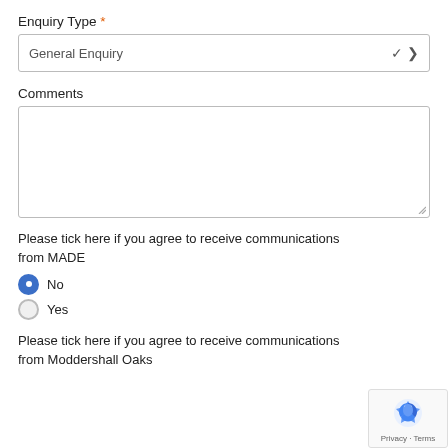Enquiry Type *
General Enquiry
Comments
Please tick here if you agree to receive communications from MADE
No
Yes
Please tick here if you agree to receive communications from Moddershall Oaks